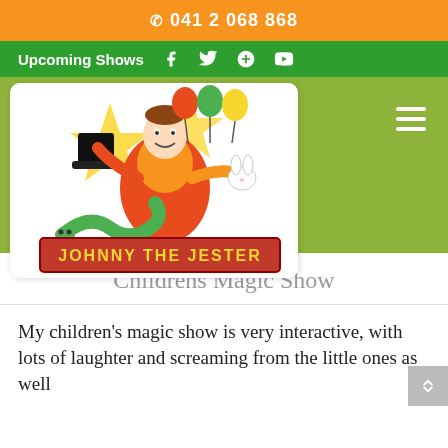📞 041 2 068 868
Upcoming Shows
[Figure (logo): Johnny the Jester logo illustration: a colorful jester/magician character holding balloons and a rabbit, with a snake, standing in front of yellow stars, with a red banner reading JOHNNY THE JESTER]
Childrens Magic Show
My children's magic show is very interactive, with lots of laughter and screaming from the little ones as well as the adults.